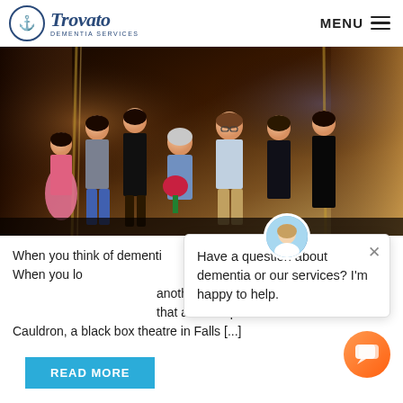Trovato Dementia Services — MENU
[Figure (photo): Group photo of seven people standing together on a stage or performance venue with gold/amber curtain backdrop. A woman in the center holds a bouquet of red roses.]
When you think of dementia, do you ever think of a kaleidoscope? When you look through a kaleidoscope, shapes are constantly changing, what one person sees as another may see as disorganized. that a recent production I saw at Creative Cauldron, a black box theatre in Falls [...]
Have a question about dementia or our services? I'm happy to help.
READ MORE